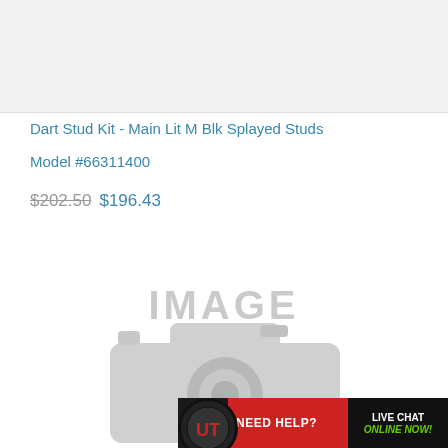[Figure (photo): Top product image placeholder area, light gray background]
Dart Stud Kit - Main Lit M Blk Splayed Studs
Model #66311400
$202.50  $196.43
[Figure (photo): IMAGE placeholder with camera icon watermark in gray]
[Figure (infographic): Live chat banner: NEED HELP? LIVE CHAT ONLINE NOW! with UT logo]